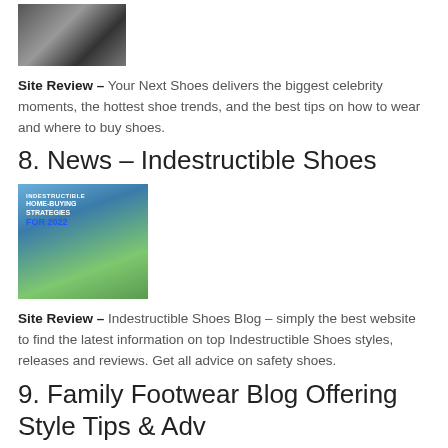[Figure (photo): Photo of people, partially cropped at top]
Site Review – Your Next Shoes delivers the biggest celebrity moments, the hottest shoe trends, and the best tips on how to wear and where to buy shoes.
8. News – Indestructible Shoes
[Figure (photo): Promotional image for Indestructible Shoes blog showing a family in front of a house with text 'Home-Buying Strategies For 2022']
Site Review – Indestructible Shoes Blog – simply the best website to find the latest information on top Indestructible Shoes styles, releases and reviews. Get all advice on safety shoes.
9. Family Footwear Blog Offering Style Tips & Adv
Site Review – Love all things shoe related? Shoe Zone is a family footwear retailer. We offer style and